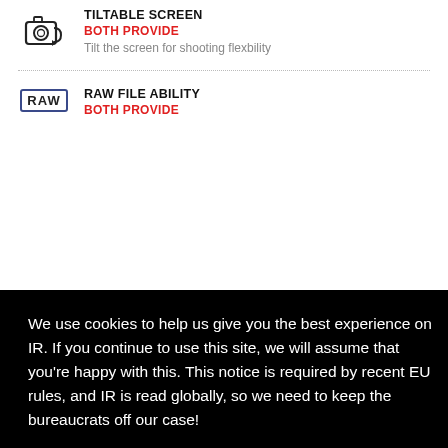[Figure (illustration): Tiltable screen icon: camera with tilting screen symbol]
TILTABLE SCREEN
BOTH PROVIDE
Tilt the screen for shooting flexbility
[Figure (illustration): RAW file icon: rectangle with 'RAW' text inside]
RAW FILE ABILITY
BOTH PROVIDE
We use cookies to help us give you the best experience on IR. If you continue to use this site, we will assume that you're happy with this. This notice is required by recent EU rules, and IR is read globally, so we need to keep the bureaucrats off our case!
Learn more
Got it!
BOTH PROVIDE